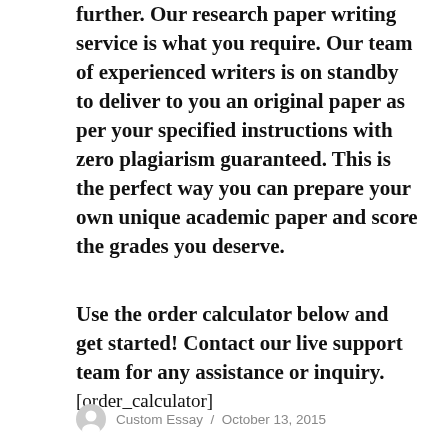further. Our research paper writing service is what you require. Our team of experienced writers is on standby to deliver to you an original paper as per your specified instructions with zero plagiarism guaranteed. This is the perfect way you can prepare your own unique academic paper and score the grades you deserve.
Use the order calculator below and get started! Contact our live support team for any assistance or inquiry.
[order_calculator]
Custom Essay / October 13, 2015